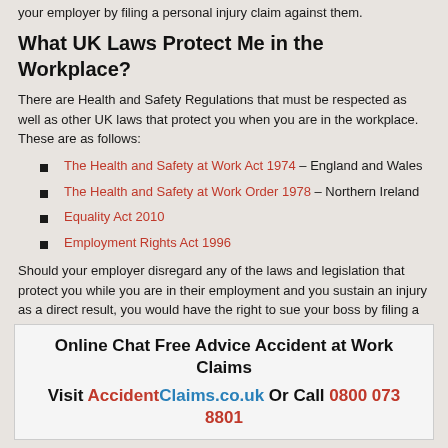your employer by filing a personal injury claim against them.
What UK Laws Protect Me in the Workplace?
There are Health and Safety Regulations that must be respected as well as other UK laws that protect you when you are in the workplace. These are as follows:
The Health and Safety at Work Act 1974 – England and Wales
The Health and Safety at Work Order 1978 – Northern Ireland
Equality Act 2010
Employment Rights Act 1996
Should your employer disregard any of the laws and legislation that protect you while you are in their employment and you sustain an injury as a direct result, you would have the right to sue your boss by filing a personal injury claim. This applies to whether you are a permanent employee or a temporary member of staff. The law in the UK requires that your employer keeps you safe from harm while carrying out jobs for them whether onsite or offsite.
Online Chat Free Advice Accident at Work Claims
Visit AccidentClaims.co.uk Or Call 0800 073 8801